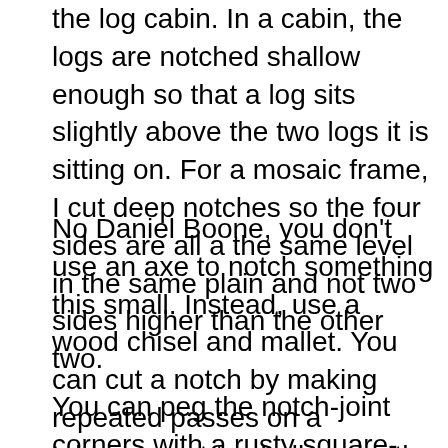the log cabin. In a cabin, the logs are notched shallow enough so that a log sits slightly above the two logs it is sitting on. For a mosaic frame, I cut deep notches so the four sides are all a the same level in the same plain and not two sides higher than the other two.
No Daniel Boone, you don't use an axe to notch something this small. Instead, use a wood chisel and mallet. You can cut a notch by making repeated passes on a tablesaw set to shallow depth, but I don't like how uniform and crisp the tablesaw is compared to the wood chisel.
You can peg the notch-joint corners with a rusty square-cut nail or brass wood screw from the front